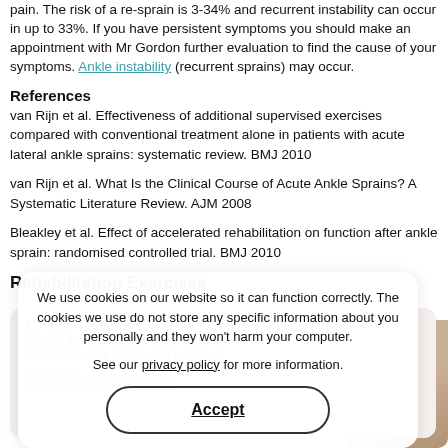pain. The risk of a re-sprain is 3-34% and recurrent instability can occur in up to 33%. If you have persistent symptoms you should make an appointment with Mr Gordon further evaluation to find the cause of your symptoms. Ankle instability (recurrent sprains) may occur.
References
van Rijn et al. Effectiveness of additional supervised exercises compared with conventional treatment alone in patients with acute lateral ankle sprains: systematic review. BMJ 2010
van Rijn et al. What Is the Clinical Course of Acute Ankle Sprains? A Systematic Literature Review. AJM 2008
Bleakley et al. Effect of accelerated rehabilitation on function after ankle sprain: randomised controlled trial. BMJ 2010
Rehabilitation Exercises
1. Active Circumduction
Rotate the foot so the toes 'draw' a circle in the air, clockwise and anti-clockwise
20 circles over 60 seconds
We use cookies on our website so it can function correctly. The cookies we use do not store any specific information about you personally and they won't harm your computer.

See our privacy policy for more information.

Accept